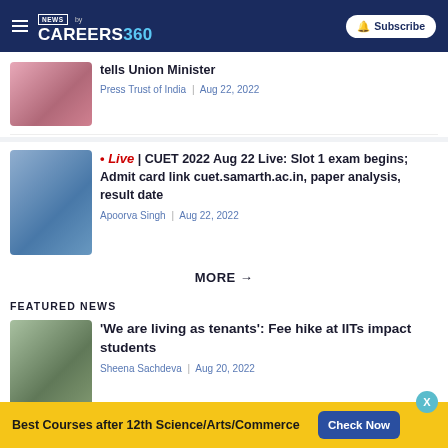NEWS by CAREERS 360 | Subscribe
tells Union Minister
Press Trust of India | Aug 22, 2022
* Live | CUET 2022 Aug 22 Live: Slot 1 exam begins; Admit card link cuet.samarth.ac.in, paper analysis, result date
Apoorva Singh | Aug 22, 2022
MORE →
FEATURED NEWS
'We are living as tenants': Fee hike at IITs impact students
Sheena Sachdeva | Aug 20, 2022
World Bank loan
Best Courses after 12th Science/Arts/Commerce
Check Now